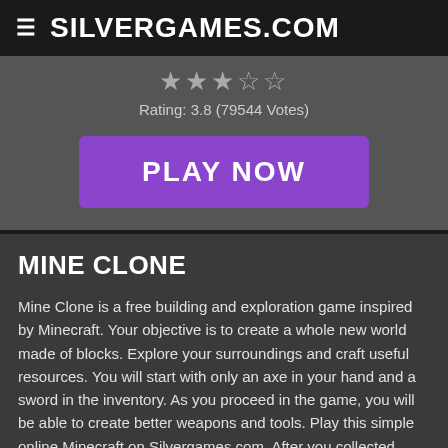SILVERGAMES.COM
Rating: 3.8 (79544 Votes)
PLAY NOW
MINE CLONE
Mine Clone is a free building and exploration game inspired by Minecraft. Your objective is to create a whole new world made of blocks. Explore your surroundings and craft useful resources. You will start with only an axe in your hand and a sword in the inventory. As you proceed in the game, you will be able to create better weapons and tools. Play this simple online Minecraft on Silvergames.com. After you collected enough material, open your inventory to select what you need and start building.
Read more ...